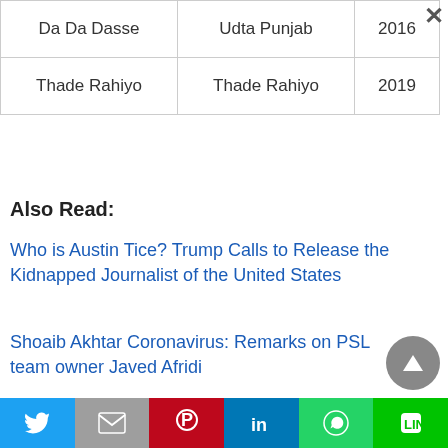| Da Da Dasse | Udta Punjab | 2016 |
| Thade Rahiyo | Thade Rahiyo | 2019 |
Also Read:
Who is Austin Tice? Trump Calls to Release the Kidnapped Journalist of the United States
Shoaib Akhtar Coronavirus: Remarks on PSL team owner Javed Afridi